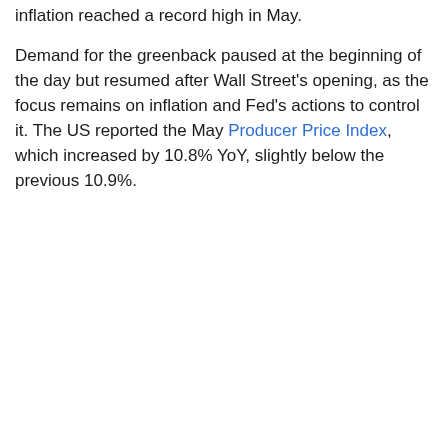inflation reached a record high in May.
Demand for the greenback paused at the beginning of the day but resumed after Wall Street's opening, as the focus remains on inflation and Fed's actions to control it. The US reported the May Producer Price Index, which increased by 10.8% YoY, slightly below the previous 10.9%.